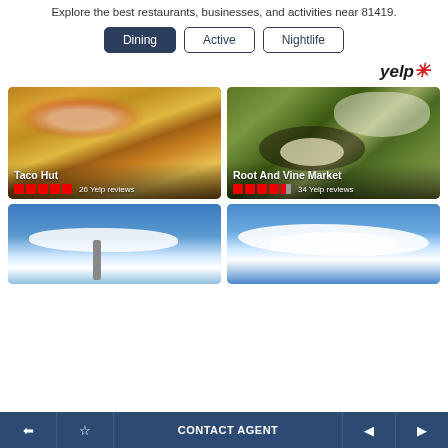Explore the best restaurants, businesses, and activities near 81419.
Dining (active tab)
Active
Nightlife
[Figure (logo): Yelp logo with red burst/star icon]
[Figure (photo): Taco Hut - photo of nachos with toppings. 5 stars, 26 Yelp reviews]
[Figure (photo): Root And Vine Market - photo of food bowls. 4.5 stars, 34 Yelp reviews]
[Figure (photo): Outdoor sky photo with clouds and antenna]
[Figure (photo): Outdoor sky photo with clouds]
← ☆ CONTACT AGENT ◀ ▶